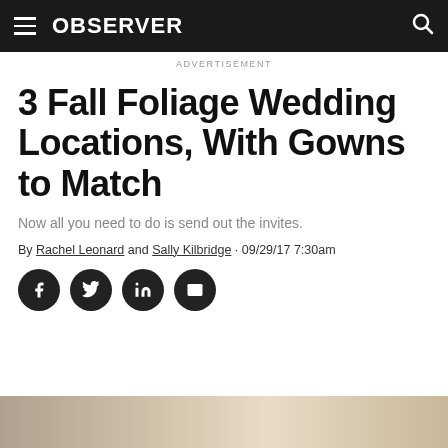OBSERVER
ADVERTISEMENT
3 Fall Foliage Wedding Locations, With Gowns to Match
Now all you need to do is send out the invites.
By Rachel Leonard and Sally Kilbridge · 09/29/17 7:30am
[Figure (other): Social media share buttons: Facebook, Twitter, LinkedIn, Email]
[Figure (photo): Partial bottom image, appears to be a wedding or outdoor scene photo]